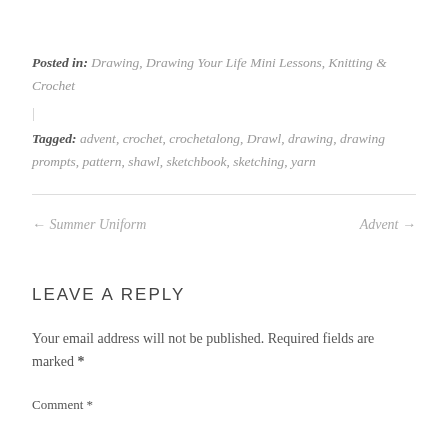Posted in: Drawing, Drawing Your Life Mini Lessons, Knitting & Crochet
|
Tagged: advent, crochet, crochetalong, Drawl, drawing, drawing prompts, pattern, shawl, sketchbook, sketching, yarn
← Summer Uniform    Advent →
LEAVE A REPLY
Your email address will not be published. Required fields are marked *
Comment *